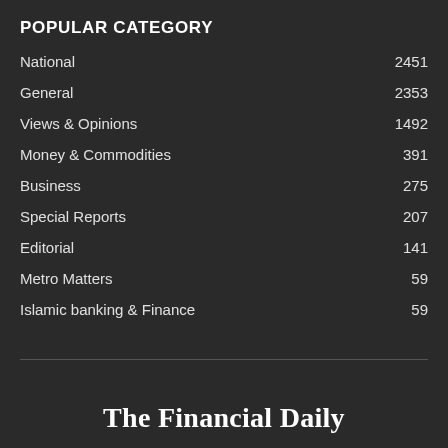POPULAR CATEGORY
National 2451
General 2353
Views & Opinions 1492
Money & Commodities 391
Business 275
Special Reports 207
Editorial 141
Metro Matters 59
Islamic banking & Finance 59
The Financial Daily